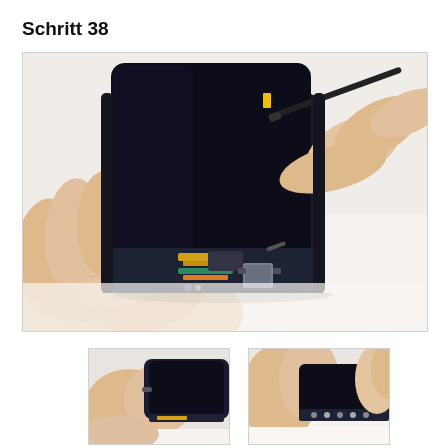Schritt 38
[Figure (photo): Hands disassembling a smartphone, separating the screen from the body, revealing internal components including flex cables and connectors.]
[Figure (photo): Thumbnail: Close-up of hands prying the smartphone screen edge.]
[Figure (photo): Thumbnail: Close-up of hands lifting the smartphone display, showing bottom connector strip.]